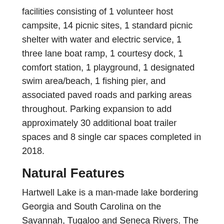facilities consisting of 1 volunteer host campsite, 14 picnic sites, 1 standard picnic shelter with water and electric service, 1 three lane boat ramp, 1 courtesy dock, 1 comfort station, 1 playground, 1 designated swim area/beach, 1 fishing pier, and associated paved roads and parking areas throughout. Parking expansion to add approximately 30 additional boat trailer spaces and 8 single car spaces completed in 2018.
Natural Features
Hartwell Lake is a man-made lake bordering Georgia and South Carolina on the Savannah, Tugaloo and Seneca Rivers. The dam and lake area boasts 8 campgrounds and 11 day-use facilities that are operated by the US Army Corps of Engineers.